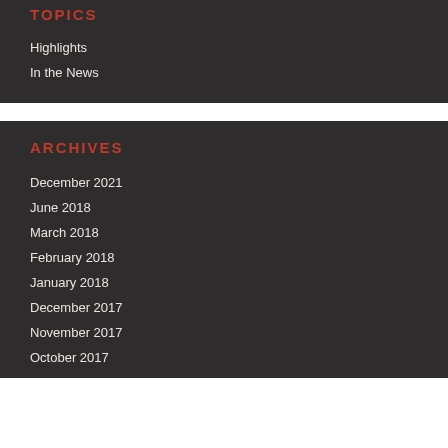TOPICS
Highlights
In the News
ARCHIVES
December 2021
June 2018
March 2018
February 2018
January 2018
December 2017
November 2017
October 2017